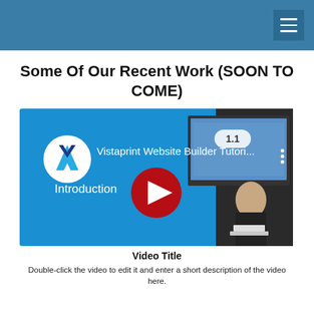Some Of Our Recent Work (SOON TO COME)
[Figure (screenshot): YouTube video thumbnail showing a Vistaprint Website Builder Tutorial introduction video with a play button overlay. The thumbnail shows a blue background with the Vistaprint logo, text '1.1' and 'Introduction', and a presenter standing next to a monitor displaying basketball players.]
Video Title
Double-click the video to edit it and enter a short description of the video here.